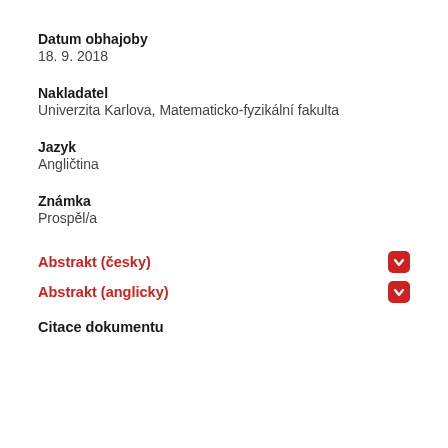Datum obhajoby
18. 9. 2018
Nakladatel
Univerzita Karlova, Matematicko-fyzikální fakulta
Jazyk
Angličtina
Známka
Prospěl/a
Abstrakt (česky)
Abstrakt (anglicky)
Citace dokumentu